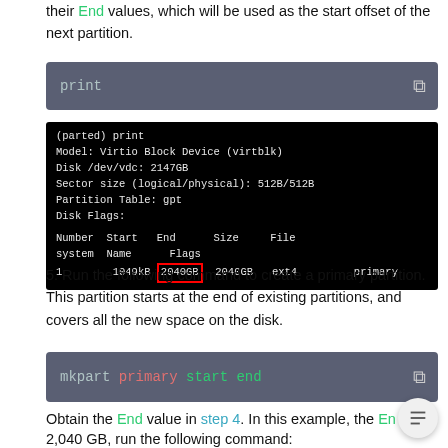their End values, which will be used as the start offset of the next partition.
[Figure (screenshot): Code box with command 'print' on dark blue-grey background with copy icon]
[Figure (screenshot): Terminal output showing parted print command: Model: Virtio Block Device (virtblk), Disk /dev/vdc: 2147GB, Sector size (logical/physical): 512B/512B, Partition Table: gpt, Disk Flags:, Number Start End Size File system Name Flags, 1 1049kB [2040GB highlighted in red] 2040GB ext4 primary]
5. Run the following command to create a primary partition. This partition starts at the end of existing partitions, and covers all the new space on the disk.
[Figure (screenshot): Code box with command 'mkpart primary start end' on dark blue-grey background]
Obtain the End value in step 4. In this example, the End va... 2,040 GB, run the following command: